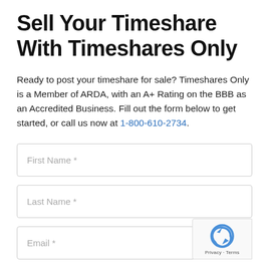Sell Your Timeshare With Timeshares Only
Ready to post your timeshare for sale? Timeshares Only is a Member of ARDA, with an A+ Rating on the BBB as an Accredited Business. Fill out the form below to get started, or call us now at 1-800-610-2734.
[Figure (other): Web form with fields: First Name *, Last Name *, Email *, and a reCAPTCHA badge in the bottom right corner.]